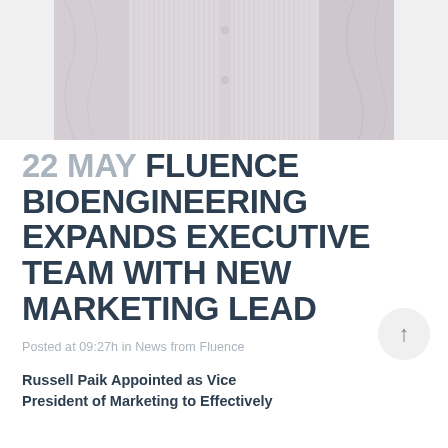[Figure (photo): Close-up photo of a person wearing a striped dress shirt, showing torso area with hands at sides]
22 MAY FLUENCE BIOENGINEERING EXPANDS EXECUTIVE TEAM WITH NEW MARKETING LEAD
Posted at 09:27h in News from Fluence
Russell Paik Appointed as Vice President of Marketing to Effectively